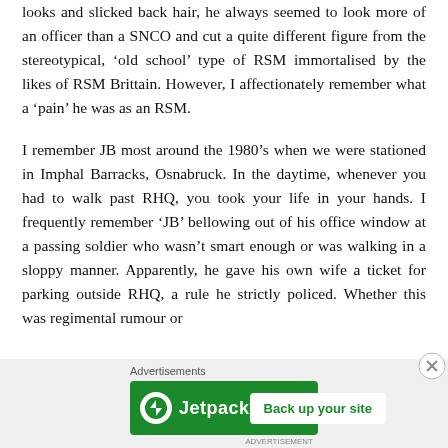looks and slicked back hair, he always seemed to look more of an officer than a SNCO and cut a quite different figure from the stereotypical, ‘old school’ type of RSM immortalised by the likes of RSM Brittain. However, I affectionately remember what a ‘pain’ he was as an RSM.
I remember JB most around the 1980’s when we were stationed in Imphal Barracks, Osnabruck. In the daytime, whenever you had to walk past RHQ, you took your life in your hands. I frequently remember ‘JB’ bellowing out of his office window at a passing soldier who wasn’t smart enough or was walking in a sloppy manner. Apparently, he gave his own wife a ticket for parking outside RHQ, a rule he strictly policed. Whether this was regimental rumour or
[Figure (other): Jetpack advertisement banner with green background, Jetpack logo on the left and 'Back up your site' button on the right. Preceded by 'Advertisements' label.]